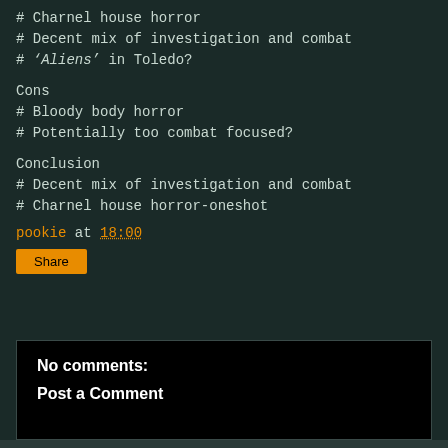# Charnel house horror
# Decent mix of investigation and combat
# ‘Aliens’ in Toledo?
Cons
# Bloody body horror
# Potentially too combat focused?
Conclusion
# Decent mix of investigation and combat
# Charnel house horror-oneshot
pookie at 18:00
Share
No comments:
Post a Comment